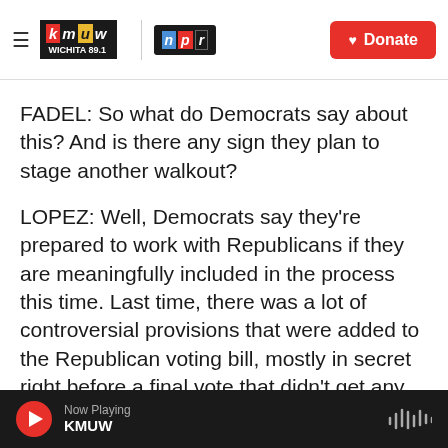KMUW Wichita 89.1 | NPR | Donate
FADEL: So what do Democrats say about this? And is there any sign they plan to stage another walkout?
LOPEZ: Well, Democrats say they're prepared to work with Republicans if they are meaningfully included in the process this time. Last time, there was a lot of controversial provisions that were added to the Republican voting bill, mostly in secret right before a final vote that didn't get any Democratic input. And Democrats say if this is going to be, like, a repeat of what happened last
Now Playing KMUW